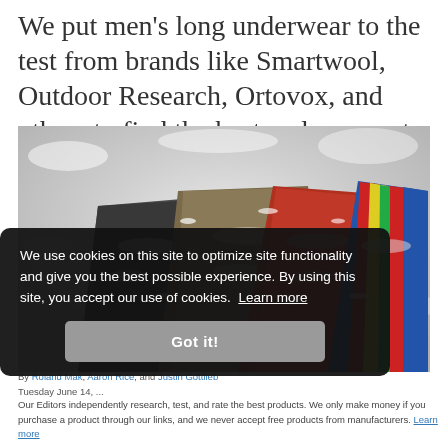We put men's long underwear to the test from brands like Smartwool, Outdoor Research, Ortovox, and others to find the best and warmest options on the market
[Figure (photo): Multiple men's long underwear bottoms fanned out on snowy ground, showing various colors and patterns including grey, brown, red, and multicolor stripe.]
We use cookies on this site to optimize site functionality and give you the best possible experience. By using this site, you accept our use of cookies.  Learn more
Got it!
By Roland Mak, Aaron Rice, and Justin Gottlieb Tuesday June 14, ...
Our Editors independently research, test, and rate the best products. We only make money if you purchase a product through our links, and we never accept free products from manufacturers. Learn more